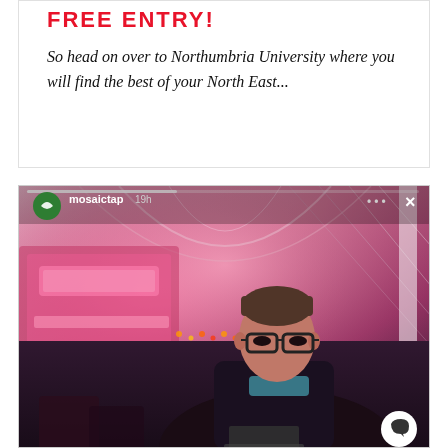FREE ENTRY!
So head on over to Northumbria University where you will find the best of your North East...
[Figure (screenshot): Instagram story screenshot showing a photo of a man with glasses looking down in a pink-lit venue interior. The story header shows username 'mosaictap', '19h' time, three dots menu, and X close button. A message/reply button is visible in the bottom right corner.]